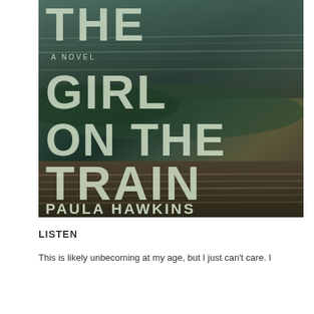[Figure (illustration): Book cover of 'The Girl on the Train' by Paula Hawkins. A motion-blurred photograph of a train passing, with large white serif/sans-serif title letters overlay reading 'THE GIRL ON THE TRAIN' and 'A NOVEL' subtitle and author name 'PAULA HAWKINS'.]
LISTEN
This is likely unbecoming at my age, but I just can't care. I